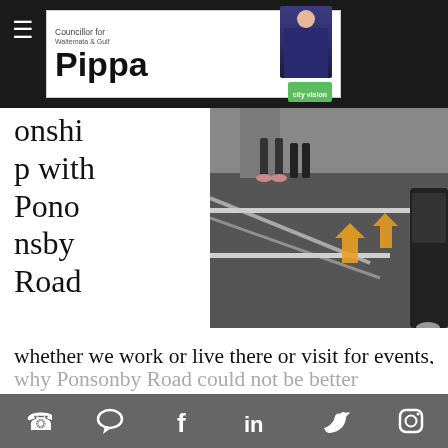Pippa — Councillor for Waitemata & Gulf | city vision
[Figure (photo): Street/road photo showing pedestrian crossing markings and arrow road markings, with a vehicle partially visible on the right and pedestrian legs visible at top]
onship with Ponsonby Road
whether we work or live there or visit for events, entertainment, the retail, restaurants and bars.  On Ponsonby Market Day we all can see the potential for Ponsonby Road in attracting a great deal of pedestrian activity. It also highlights the current issues of narrow pavements, lack of people-focused spaces and
why Ponsonby Road could not be better
Social media links: phone, message, facebook, linkedin, twitter, instagram